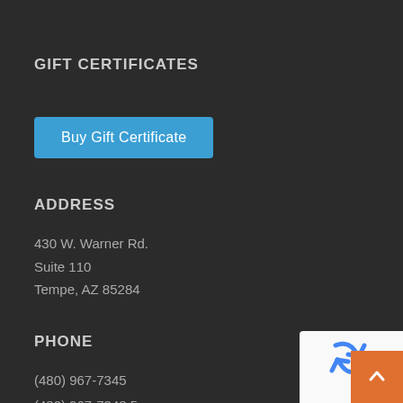GIFT CERTIFICATES
Buy Gift Certificate
ADDRESS
430 W. Warner Rd.
Suite 110
Tempe, AZ 85284
PHONE
(480) 967-7345
(480) 967-7348 5